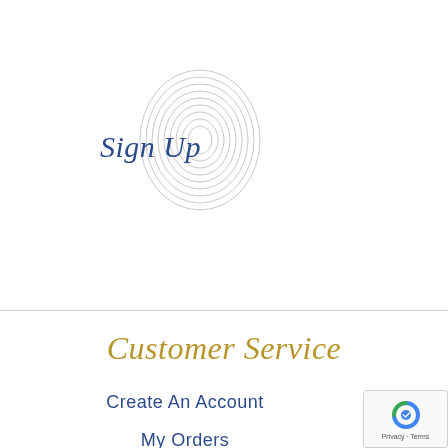[Figure (logo): Fingerprint graphic with 'Sign Up' italic script text overlaid in dark blue]
Customer Service
Create An Account
My Orders